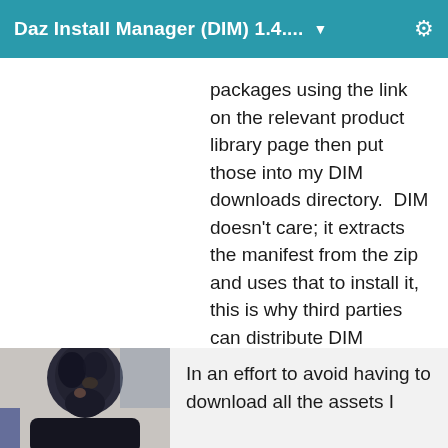Daz Install Manager (DIM) 1.4.... ▼
packages using the link on the relevant product library page then put those into my DIM downloads directory.  DIM doesn't care; it extracts the manifest from the zip and uses that to install it, this is why third parties can distribute DIM acceptable packages.  You can use the link with wget, which is very, very reliable, although it has 1001 options.
[Figure (photo): Partial user avatar photo showing a dark figure/portrait, cropped at bottom of page]
In an effort to avoid having to download all the assets I